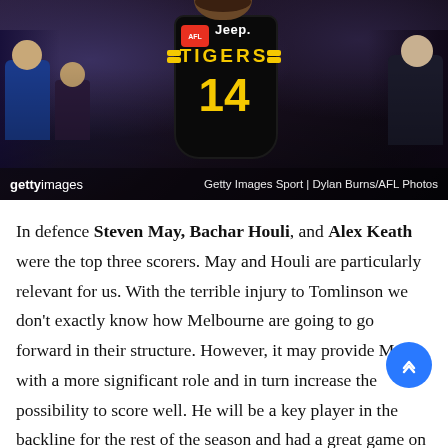[Figure (photo): AFL football player wearing Richmond Tigers black jersey number 14 with yellow 'TIGERS' text and Jeep/AFL logos, jogging past a crowd. Getty Images Sport photo by Dylan Burns/AFL Photos.]
gettyimages   Getty Images Sport | Dylan Burns/AFL Photos
In defence Steven May, Bachar Houli, and Alex Keath were the top three scorers. May and Houli are particularly relevant for us. With the terrible injury to Tomlinson we don't exactly know how Melbourne are going to go forward in their structure. However, it may provide May with a more significant role and in turn increase the possibility to score well. He will be a key player in the backline for the rest of the season and had a great game on Sunday. In many respects May is an easy jump. He will